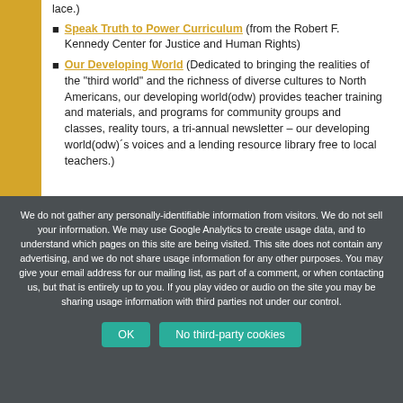lace.)
Speak Truth to Power Curriculum (from the Robert F. Kennedy Center for Justice and Human Rights)
Our Developing World (Dedicated to bringing the realities of the "third world" and the richness of diverse cultures to North Americans, our developing world(odw) provides teacher training and materials, and programs for community groups and classes, reality tours, a tri-annual newsletter – our developing world(odw)´s voices and a lending resource library free to local teachers.)
We do not gather any personally-identifiable information from visitors. We do not sell your information. We may use Google Analytics to create usage data, and to understand which pages on this site are being visited. This site does not contain any advertising, and we do not share usage information for any other purposes. You may give your email address for our mailing list, as part of a comment, or when contacting us, but that is entirely up to you. If you play video or audio on the site you may be sharing usage information with third parties not under our control.